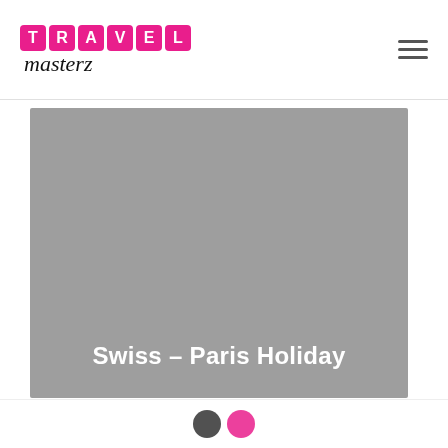[Figure (logo): Travel Masterz logo with pink tile letters spelling TRAVEL and cursive 'masterz' below]
[Figure (photo): Large gray placeholder image representing a Swiss–Paris Holiday travel destination photo]
Swiss – Paris Holiday